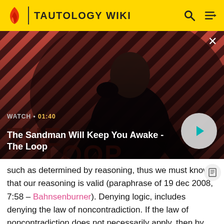TAUTOLOGY WIKI
[Figure (screenshot): Video thumbnail showing a dark-cloaked figure with a raven on their shoulder against a red and black diagonal stripe background. Title card reads 'The Loop'. Watch duration 01:40 shown. Play button overlay.]
WATCH • 01:40
The Sandman Will Keep You Awake - The Loop
such as determined by reasoning, thus we must know that our reasoning is valid (paraphrase of 19 dec 2008, 7:58 – Bahnsenburner). Denying logic, includes denying the law of noncontradiction. If the law of noncontradiction does not necessarily apply, then by denying logic, you are actually affirming logic, since